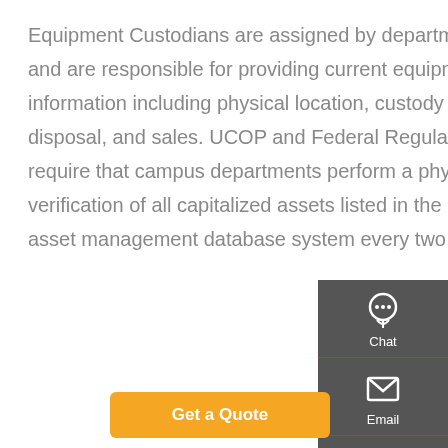Equipment Custodians are assigned by departments and are responsible for providing current equipment information including physical location, custody code, disposal, and sales. UCOP and Federal Regulations require that campus departments perform a physical verification of all capitalized assets listed in the UCSF asset management database system every two years.
[Figure (other): Sidebar navigation panel with dark grey background containing Chat, Email, Contact, and Top buttons with icons]
Get a Quote